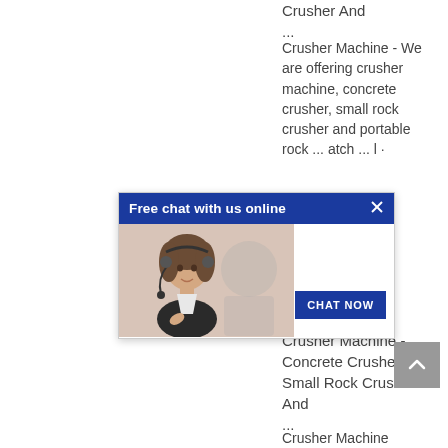Crusher And ...
Crusher Machine - We are offering crusher machine, concrete crusher, small rock crusher and portable rock ... atch ... l ·
[Figure (screenshot): Chat popup overlay with blue header 'Free chat with us online', close button (X), photo of a female customer service agent wearing a headset, and a 'CHAT NOW' button]
Price
Crusher Machine - Concrete Crusher, Small Rock Crusher And ...
Crusher Machine